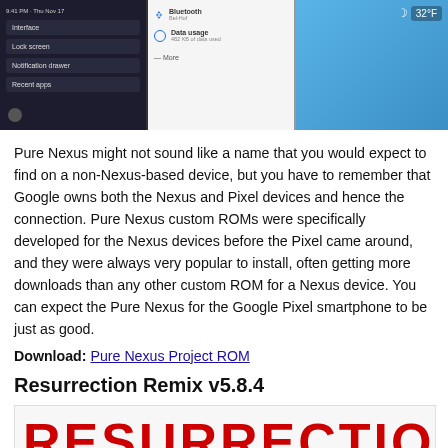[Figure (screenshot): Screenshot of Android phone UI panels showing lock screen menu, Bluetooth/Data usage quick settings, and a phone showing 32°F weather on blue background]
Pure Nexus might not sound like a name that you would expect to find on a non-Nexus-based device, but you have to remember that Google owns both the Nexus and Pixel devices and hence the connection. Pure Nexus custom ROMs were specifically developed for the Nexus devices before the Pixel came around, and they were always very popular to install, often getting more downloads than any other custom ROM for a Nexus device. You can expect the Pure Nexus for the Google Pixel smartphone to be just as good.
Download: Pure Nexus Project ROM
Resurrection Remix v5.8.4
[Figure (logo): Resurrection Remix logo text in large red bold letters on white/light grey background]